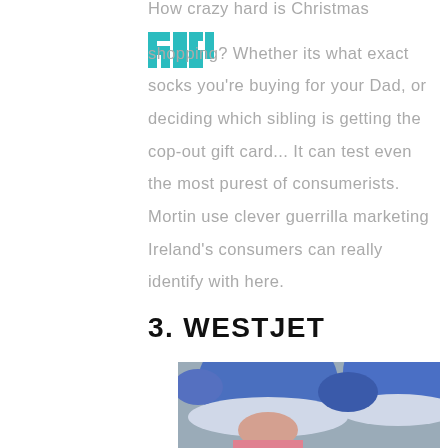[Figure (logo): ROGUE logo in teal/turquoise block letters]
How crazy hard is Christmas shopping? Whether its what exact socks you're buying for your Dad, or deciding which sibling is getting the cop-out gift card... It can test even the most purest of consumerists. Mortin use clever guerrilla marketing Ireland's consumers can really identify with here.
3. WESTJET
[Figure (photo): Photo of people wearing blue and white Santa/Christmas hats, crowd scene]